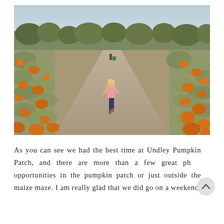[Figure (photo): A child in a pink top and dark leggings running down a dirt path through a pumpkin patch. Orange pumpkins line both sides among green foliage. An adult figure is visible further down the path. Trees line the horizon under a light blue sky.]
As you can see we had the best time at Undley Pumpkin Patch, and there are more than a few great photo opportunities in the pumpkin patch or just outside the maize maze. I am really glad that we did go on a weekend